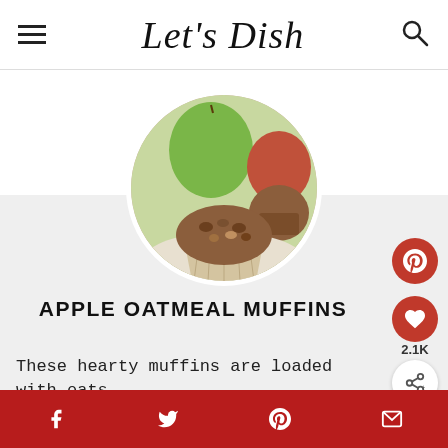Let's Dish
[Figure (photo): Circular photo of apple oatmeal muffin with apples in background]
APPLE OATMEAL MUFFINS
These hearty muffins are loaded with oats,
Social share bar with Facebook, Twitter, Pinterest, Email icons